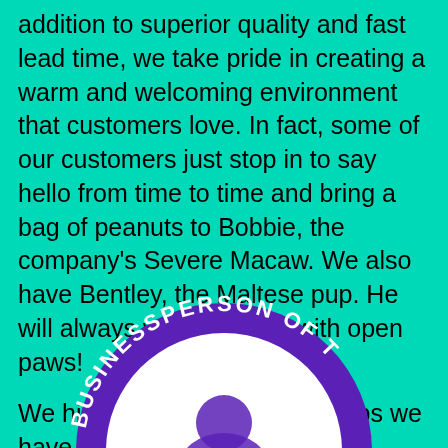addition to superior quality and fast lead time, we take pride in creating a warm and welcoming environment that customers love. In fact, some of our customers just stop in to say hello from time to time and bring a bag of peanuts to Bobbie, the company's Severe Macaw. We also have Bentley, the Maltese pup. He will always welcome you with open paws!
We highly value the relationships we have with our clients and look forward to working with new clients.
[Figure (logo): Circular badge/seal with purple border reading 'BUSINESSPERSON OF T' (text continues off-page), white center with partial figure graphic inside.]